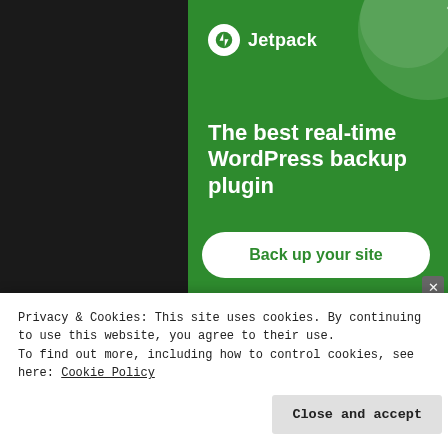[Figure (screenshot): Jetpack WordPress backup plugin advertisement banner on dark background. Green banner with Jetpack logo, headline 'The best real-time WordPress backup plugin', and a white 'Back up your site' button.]
REPORT TH
[Figure (screenshot): Social sharing icons: Twitter (blue bird), Facebook (blue f), Reddit (light grey alien)]
Privacy & Cookies: This site uses cookies. By continuing to use this website, you agree to their use.
To find out more, including how to control cookies, see here: Cookie Policy
Close and accept